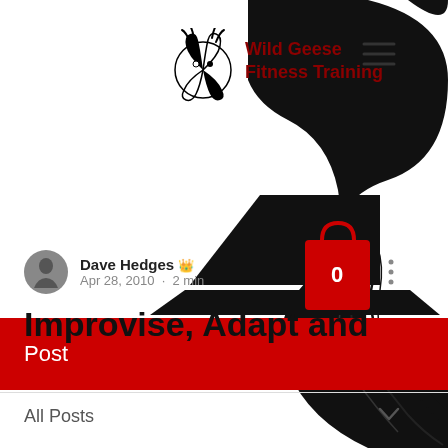[Figure (logo): Wild Geese Fitness Training logo - circular emblem with two swans/geese and yin-yang motif in black and white]
Wild Geese Fitness Training
[Figure (illustration): Decorative black swirling feather/wing design on right side of page]
[Figure (illustration): Laptop computer with shopping bag icon showing 0 items]
Post
All Posts
Dave Hedges  Apr 28, 2010 · 2 min
Improvise, Adapt and